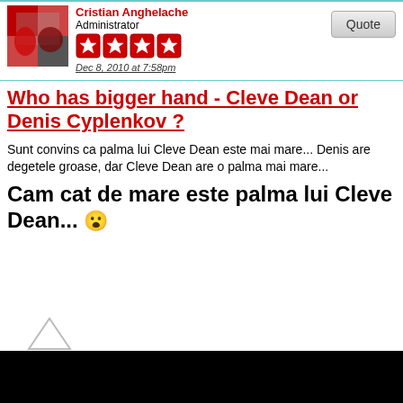Cristian Anghelache | Administrator | Dec 8, 2010 at 7:58pm
Who has bigger hand - Cleve Dean or Denis Cyplenkov ?
Sunt convins ca palma lui Cleve Dean este mai mare... Denis are degetele groase, dar Cleve Dean are o palma mai mare...
Cam cat de mare este palma lui Cleve Dean... 😮